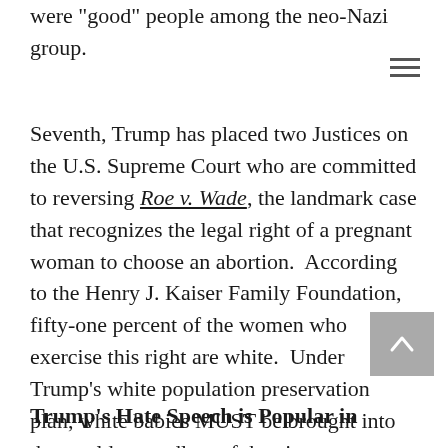were "good" people among the neo-Nazi group.
Seventh, Trump has placed two Justices on the U.S. Supreme Court who are committed to reversing Roe v. Wade, the landmark case that recognizes the legal right of a pregnant woman to choose an abortion.  According to the Henry J. Kaiser Family Foundation, fifty-one percent of the women who exercise this right are white.  Under Trump's white population preservation plan, white babies MUST be brought into the world, regardless of the circumstances surrounding the mother's pregnancy.
Trump's Hate Speech is Popular in